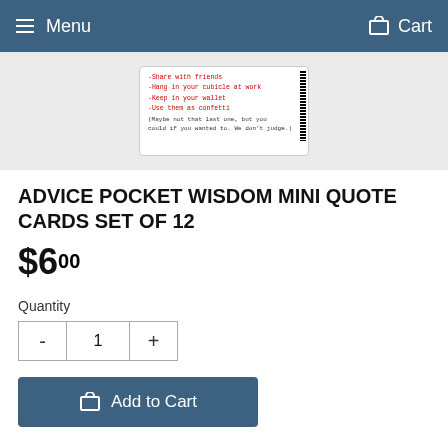Menu   Cart
[Figure (photo): Product card image showing text in red and black on a white card with barcode]
ADVICE POCKET WISDOM MINI QUOTE CARDS SET OF 12
$6.00
Quantity
- 1 +
Add to Cart